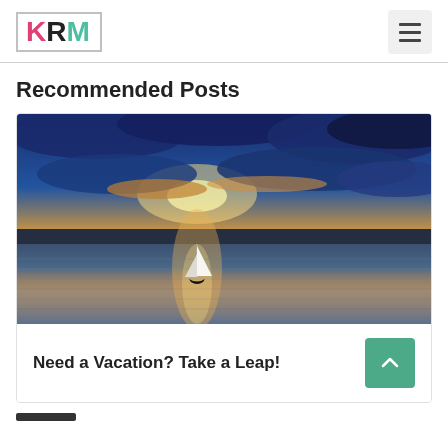KRM
Recommended Posts
[Figure (photo): Sailboat on a calm lake at sunset with dramatic blue clouds and golden light reflecting on the water]
Need a Vacation? Take a Leap!